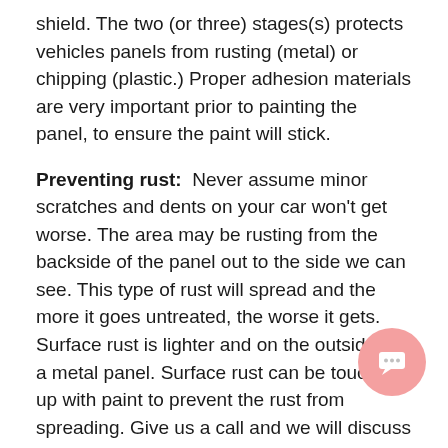shield. The two (or three) stages(s) protects vehicles panels from rusting (metal) or chipping (plastic.) Proper adhesion materials are very important prior to painting the panel, to ensure the paint will stick.
Preventing rust:  Never assume minor scratches and dents on your car won't get worse. The area may be rusting from the backside of the panel out to the side we can see. This type of rust will spread and the more it goes untreated, the worse it gets. Surface rust is lighter and on the outside of a metal panel. Surface rust can be touched up with paint to prevent the rust from spreading. Give us a call and we will discuss the repair options for the scratches or rust.
Holding your vehicle value: Even if your car has